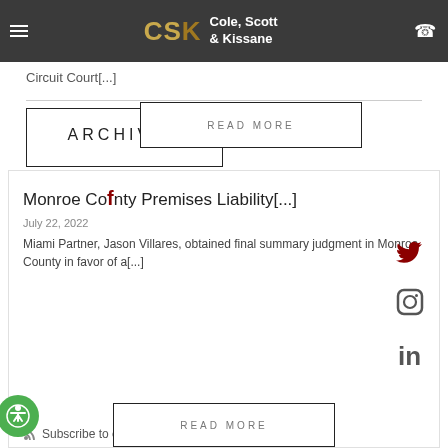Cole, Scott & Kissane
Circuit Court[...]
ARCHIVES
READ MORE
Monroe County Premises Liability[...]
July 22, 2022
Miami Partner, Jason Villares, obtained final summary judgment in Monroe County in favor of a[...]
READ MORE
Subscribe to our RSS